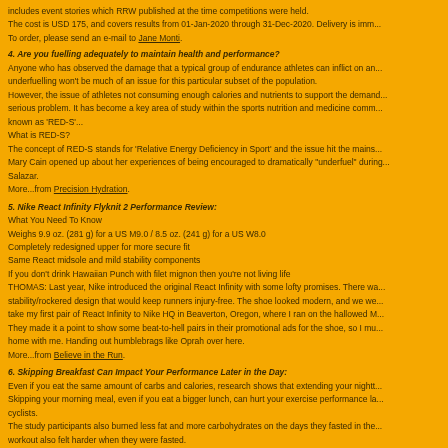includes event stories which RRW published at the time competitions were held. The cost is USD 175, and covers results from 01-Jan-2020 through 31-Dec-2020. Delivery is imm... To order, please send an e-mail to Jane Monti.
4. Are you fuelling adequately to maintain health and performance?
Anyone who has observed the damage that a typical group of endurance athletes can inflict on an... underfuelling won't be much of an issue for this particular subset of the population. However, the issue of athletes not consuming enough calories and nutrients to support the demands... serious problem. It has become a key area of study within the sports nutrition and medicine comm... known as 'RED-S'... What is RED-S? The concept of RED-S stands for 'Relative Energy Deficiency in Sport' and the issue hit the mains... Mary Cain opened up about her experiences of being encouraged to dramatically "underfuel" during... Salazar. More...from Precision Hydration.
5. Nike React Infinity Flyknit 2 Performance Review:
What You Need To Know
Weighs 9.9 oz. (281 g) for a US M9.0 / 8.5 oz. (241 g) for a US W8.0
Completely redesigned upper for more secure fit
Same React midsole and mild stability components
If you don't drink Hawaiian Punch with filet mignon then you're not living life
THOMAS: Last year, Nike introduced the original React Infinity with some lofty promises. There wa... stability/rockered design that would keep runners injury-free. The shoe looked modern, and we we... take my first pair of React Infinity to Nike HQ in Beaverton, Oregon, where I ran on the hallowed M... They made it a point to show some beat-to-hell pairs in their promotional ads for the shoe, so I mu... home with me. Handing out humblebrags like Oprah over here. More...from Believe in the Run.
6. Skipping Breakfast Can Impact Your Performance Later in the Day:
Even if you eat the same amount of carbs and calories, research shows that extending your nightt... Skipping your morning meal, even if you eat a bigger lunch, can hurt your exercise performance la... cyclists. The study participants also burned less fat and more carbohydrates on the days they fasted in the... workout also felt harder when they were fasted. Intermittent fasting may help with weight loss, but when you need to perform that day, eat your mo... Research shows that intermittent fasting - also known as time-restricted eating, when you eat in a... lower inflammation, and reduce the risk for diseases like diabetes. But when it comes to your perf... morning meal is the way to go, according to a study published in the European Journal of Sport Sc... More...from Runner's World.